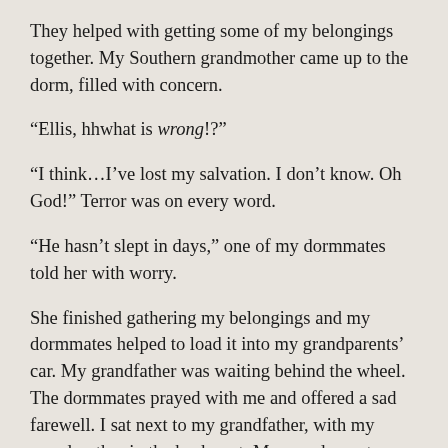They helped with getting some of my belongings together. My Southern grandmother came up to the dorm, filled with concern.
“Ellis, hhwhat is wrong!?”
“I think…I’ve lost my salvation. I don’t know. Oh God!” Terror was on every word.
“He hasn’t slept in days,” one of my dormmates told her with worry.
She finished gathering my belongings and my dormmates helped to load it into my grandparents’ car. My grandfather was waiting behind the wheel. The dormmates prayed with me and offered a sad farewell. I sat next to my grandfather, with my grandmother in the back seat. My grandparents encouraged me to try to lie back and sleep but I could not. We drove out of the Bible College and got onto a freeway.